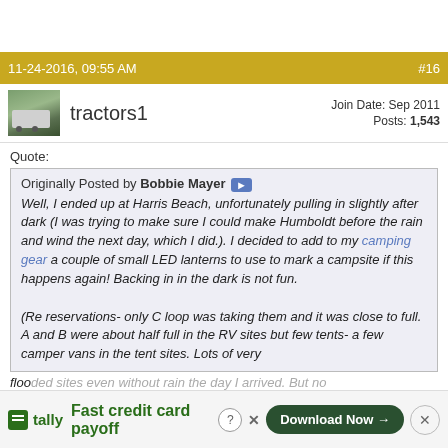11-24-2016, 09:55 AM   #16
tractors1   Join Date: Sep 2011   Posts: 1,543
Quote:
Originally Posted by Bobbie Mayer
Well, I ended up at Harris Beach, unfortunately pulling in slightly after dark (I was trying to make sure I could make Humboldt before the rain and wind the next day, which I did.). I decided to add to my camping gear a couple of small LED lanterns to use to mark a campsite if this happens again! Backing in in the dark is not fun.

(Re reservations- only C loop was taking them and it was close to full. A and B were about half full in the RV sites but few tents- a few camper vans in the tent sites. Lots of very flooded sites even without rain the day I arrived. But no prob... rese...
[Figure (screenshot): Tally app advertisement banner: Fast credit card payoff with Download Now button]